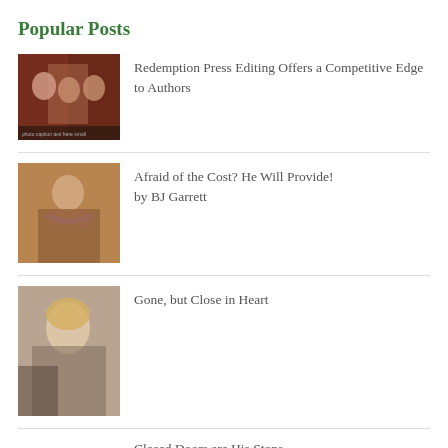Popular Posts
[Figure (photo): Group photo of three women at a restaurant/event, holiday setting]
Redemption Press Editing Offers a Competitive Edge to Authors
[Figure (photo): Woman standing, wearing a scarf]
Afraid of the Cost? He Will Provide! by BJ Garrett
[Figure (photo): Blonde woman smiling, selfie style]
Gone, but Close in Heart
Closed Doors are His Stops